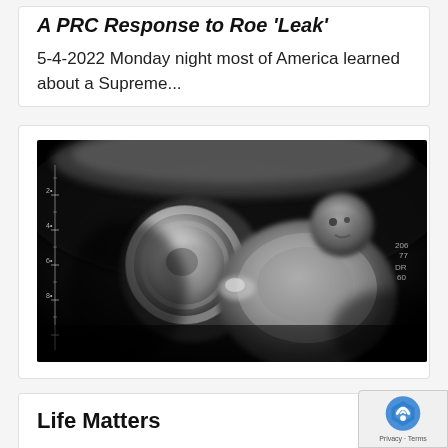A PRC Response to Roe 'Leak'
5-4-2022 Monday night most of America learned about a Supreme...
[Figure (photo): Black and white ultrasound image showing a fetus in the womb]
Life Matters
A Pregnancy Resource Clinic fundraising banquet